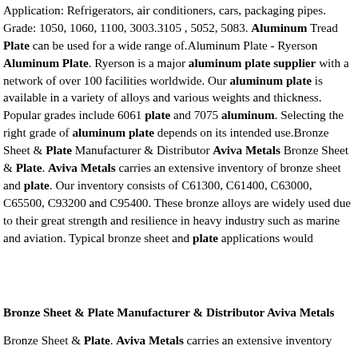Application: Refrigerators, air conditioners, cars, packaging pipes. Grade: 1050, 1060, 1100, 3003.3105 , 5052, 5083. Aluminum Tread Plate can be used for a wide range of.Aluminum Plate - Ryerson Aluminum Plate. Ryerson is a major aluminum plate supplier with a network of over 100 facilities worldwide. Our aluminum plate is available in a variety of alloys and various weights and thickness. Popular grades include 6061 plate and 7075 aluminum. Selecting the right grade of aluminum plate depends on its intended use.Bronze Sheet & Plate Manufacturer & Distributor Aviva Metals Bronze Sheet & Plate. Aviva Metals carries an extensive inventory of bronze sheet and plate. Our inventory consists of C61300, C61400, C63000, C65500, C93200 and C95400. These bronze alloys are widely used due to their great strength and resilience in heavy industry such as marine and aviation. Typical bronze sheet and plate applications would
Bronze Sheet & Plate Manufacturer & Distributor Aviva Metals
Bronze Sheet & Plate. Aviva Metals carries an extensive inventory